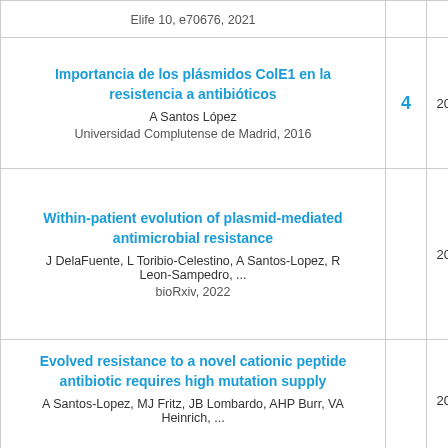| Title / Authors / Venue | Cited by | Year |
| --- | --- | --- |
| Importancia de los plásmidos ColE1 en la resistencia a antibióticos
A Santos López
Universidad Complutense de Madrid, 2016 | 4 | 2016 |
| Within-patient evolution of plasmid-mediated antimicrobial resistance
J DelaFuente, L Toribio-Celestino, A Santos-Lopez, R Leon-Sampedro, ...
bioRxiv, 2022 |  | 2022 |
| Evolved resistance to a novel cationic peptide antibiotic requires high mutation supply
A Santos-Lopez, MJ Fritz, JB Lombardo, AHP Burr, VA Heinrich, ... |  | 2022 |